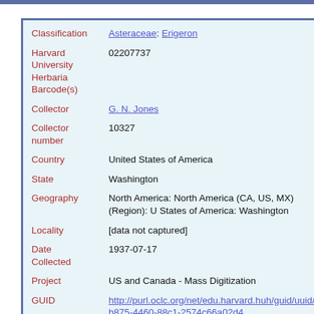| Field | Value |
| --- | --- |
| Classification | Asteraceae: Erigeron |
| Harvard University Herbaria Barcode(s) | 02207737 |
| Collector | G. N. Jones |
| Collector number | 10327 |
| Country | United States of America |
| State | Washington |
| Geography | North America: North America (CA, US, MX) (Region): United States of America: Washington |
| Locality | [data not captured] |
| Date Collected | 1937-07-17 |
| Project | US and Canada - Mass Digitization |
| GUID | http://purl.oclc.org/net/edu.harvard.huh/guid/uuid/4dfb875-4460-88c1-2574c66a02d4 |
| Harvard University Herbaria | 02207737 |